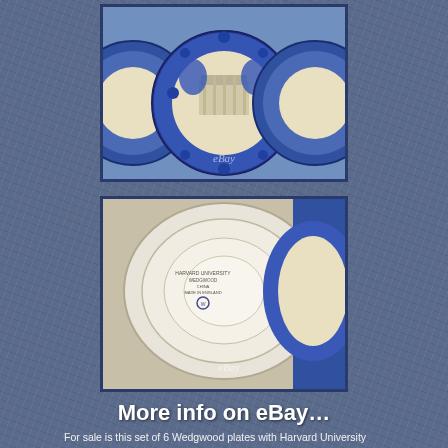[Figure (photo): Blue and white Wedgwood decorative plates with Harvard University scenic views and floral/fruit border designs, showing the front face of the plates]
[Figure (photo): Underside/back of a Wedgwood plate showing the maker's mark stamp and circular ridged base, cream/white in color]
More info on eBay…
For sale is this set of 6 Wedgwood plates with Harvard University scenic views on each as well as floral, fruit,